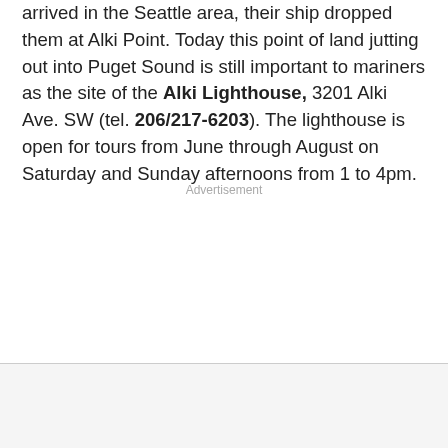arrived in the Seattle area, their ship dropped them at Alki Point. Today this point of land jutting out into Puget Sound is still important to mariners as the site of the Alki Lighthouse, 3201 Alki Ave. SW (tel. 206/217-6203). The lighthouse is open for tours from June through August on Saturday and Sunday afternoons from 1 to 4pm.
Advertisement